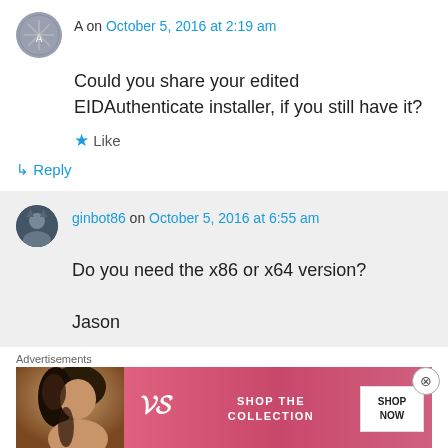A on October 5, 2016 at 2:19 am
Could you share your edited EIDAuthenticate installer, if you still have it?
Like
Reply
ginbot86 on October 5, 2016 at 6:55 am
Do you need the x86 or x64 version?

Jason
Advertisements
[Figure (photo): Victoria's Secret advertisement banner with woman's photo, VS logo, 'SHOP THE COLLECTION' text, and 'SHOP NOW' button]